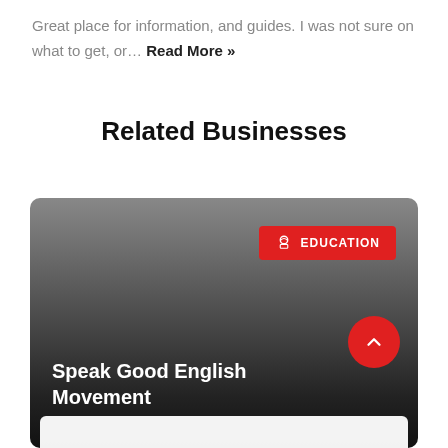Great place for information, and guides. I was not sure on what to get, or… Read More »
Related Businesses
[Figure (other): Business card/thumbnail image for 'Speak Good English Movement' with a dark gradient background, an EDUCATION category badge in red at the top right, a red circular scroll-to-top button, and the business name in white text at the bottom. A white bar appears at the very bottom of the card.]